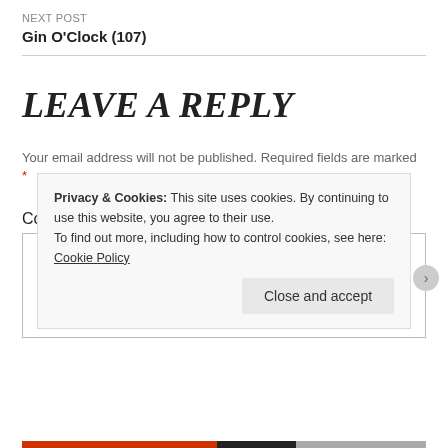NEXT POST
Gin O'Clock (107)
LEAVE A REPLY
Your email address will not be published. Required fields are marked *
Comment *
Privacy & Cookies: This site uses cookies. By continuing to use this website, you agree to their use.
To find out more, including how to control cookies, see here: Cookie Policy
Close and accept